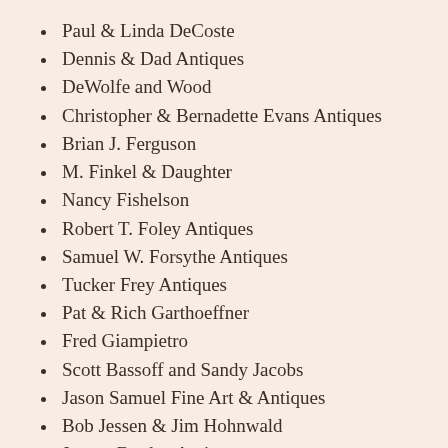Paul & Linda DeCoste
Dennis & Dad Antiques
DeWolfe and Wood
Christopher & Bernadette Evans Antiques
Brian J. Ferguson
M. Finkel & Daughter
Nancy Fishelson
Robert T. Foley Antiques
Samuel W. Forsythe Antiques
Tucker Frey Antiques
Pat & Rich Garthoeffner
Fred Giampietro
Scott Bassoff and Sandy Jacobs
Jason Samuel Fine Art & Antiques
Bob Jessen & Jim Hohnwald
Jewett-Berdan Antiques
Bill Kelly & Courtney Walsh
Kelly Kinzle
Nathan Liverant and Son, LLC